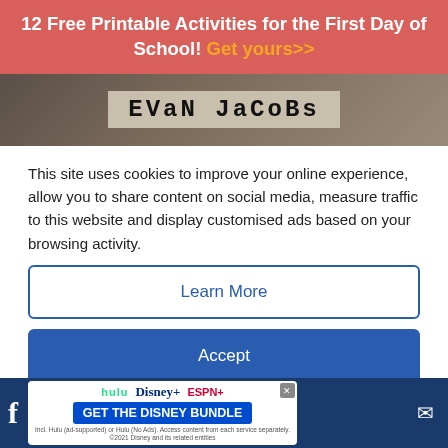12 Free Printable Activities for the First Day of School! Get yours>>
[Figure (photo): A name tag or label reading 'Evan Jacobs' in handwritten block letters on a textured background]
This site uses cookies to improve your online experience, allow you to share content on social media, measure traffic to this website and display customised ads based on your browsing activity.
Learn More
Accept
important friendship?
[Figure (screenshot): Disney Bundle advertisement banner with Hulu, Disney+, ESPN+ logos and 'GET THE DISNEY BUNDLE' call to action button]